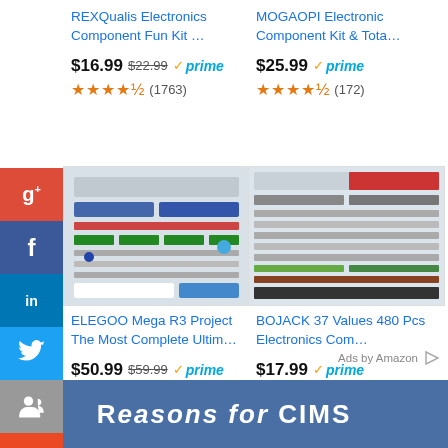REXQualis Electronics Component Fun Kit …
MOGAOPI Electronic Component Kit & Tota…
[Figure (photo): ELEGOO Mega R3 Project electronics kit components spread out]
[Figure (photo): BOJACK 37 Values 480 Pcs Electronics Components kit spread out]
ELEGOO Mega R3 Project The Most Complete Ultim…
BOJACK 37 Values 480 Pcs Electronics Com…
Ads by Amazon